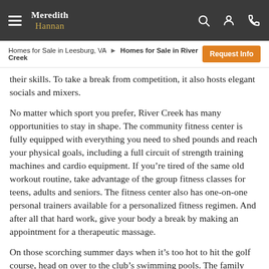Meredith Hannan
Homes for Sale in Leesburg, VA ▶ Homes for Sale in River Creek | Request Info
their skills. To take a break from competition, it also hosts elegant socials and mixers.
No matter which sport you prefer, River Creek has many opportunities to stay in shape. The community fitness center is fully equipped with everything you need to shed pounds and reach your physical goals, including a full circuit of strength training machines and cardio equipment. If you're tired of the same old workout routine, take advantage of the group fitness classes for teens, adults and seniors. The fitness center also has one-on-one personal trainers available for a personalized fitness regimen. And after all that hard work, give your body a break by making an appointment for a therapeutic massage.
On those scorching summer days when it's too hot to hit the golf course, head on over to the club's swimming pools. The family pool is open for members of all ages to